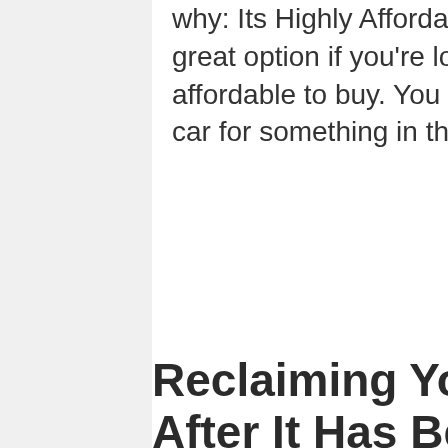why: Its Highly Affordable The Ford Focus is a great option if you're looking for something affordable to buy. You can get the base model car for something in the $20,000...
Read More
Reclaiming Your Home After It Has Been Struck by a Disaster in Tulsa